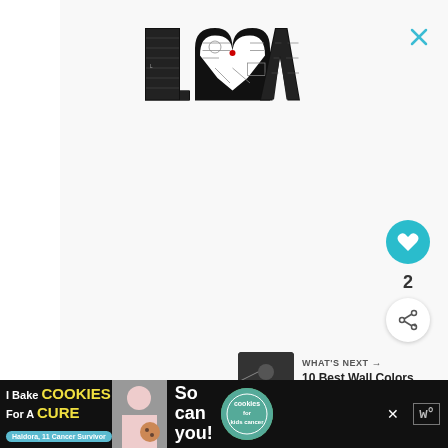[Figure (logo): LOVE typographic logo in black and white with intricate illustrations inside each letter, with a small red heart dot on the O]
[Figure (illustration): Close X button in teal/cyan color top right]
[Figure (illustration): Teal circular heart/like button with count of 2, and a share button below]
[Figure (photo): What's Next card with thumbnail photo and text: 10 Best Wall Colors for...]
[Figure (infographic): Bottom advertisement banner: I Bake COOKIES For A CURE - Haldora, 11 Cancer Survivor - So can you! - cookies for kids cancer logo - close button - W logo]